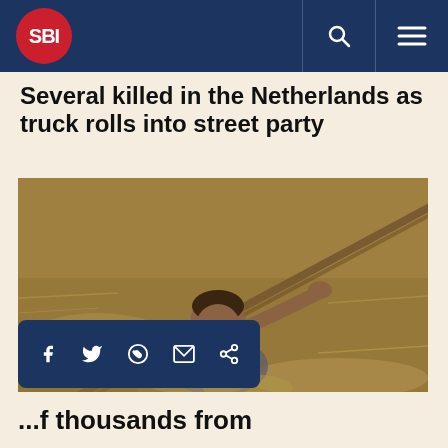SBI
Several killed in the Netherlands as truck rolls into street party
[Figure (photo): A child or young person submerged in muddy brown floodwater, holding onto a rope or stick extending diagonally across the image.]
...of thousands from